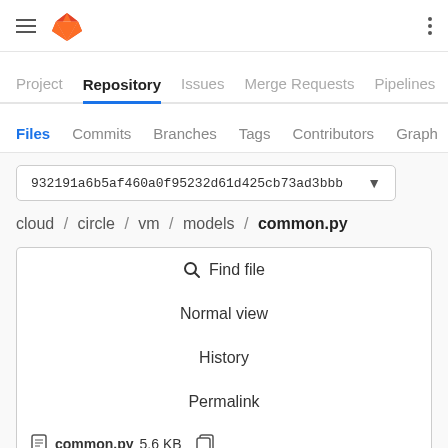GitLab navigation header with hamburger menu, fox logo, and kebab menu
Project  Repository  Issues  Merge Requests  Pipelines  >
Files  Commits  Branches  Tags  Contributors  Graph  >
932191a6b5af460a0f95232d61d425cb73ad3bbb
cloud / circle / vm / models / common.py
Find file
Normal view
History
Permalink
common.py 5.6 KB